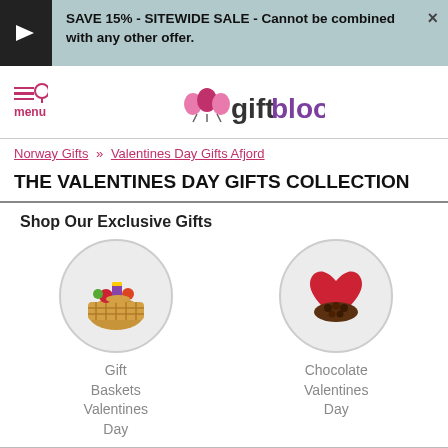SAVE 15% - SITEWIDE SALE - Cannot be combined with any other offer.
[Figure (logo): GiftBlooms logo with balloon decorations and menu/search icon]
Norway Gifts » Valentines Day Gifts Afjord
THE VALENTINES DAY GIFTS COLLECTION
Shop Our Exclusive Gifts
[Figure (illustration): Circular icon showing a gift basket with assorted items, labeled Gift Baskets Valentines Day]
[Figure (illustration): Circular icon showing a red heart-shaped chocolate box, labeled Chocolate Valentines Day]
Afjord Valentines Day Gifts